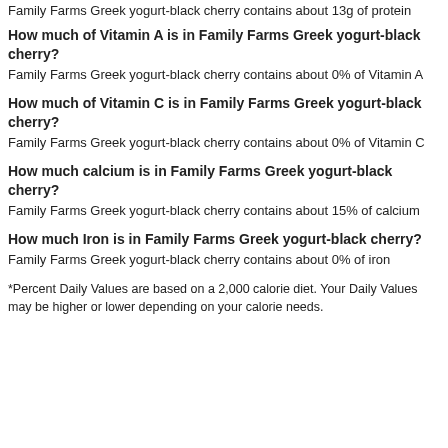Family Farms Greek yogurt-black cherry contains about 13g of protein
How much of Vitamin A is in Family Farms Greek yogurt-black cherry?
Family Farms Greek yogurt-black cherry contains about 0% of Vitamin A
How much of Vitamin C is in Family Farms Greek yogurt-black cherry?
Family Farms Greek yogurt-black cherry contains about 0% of Vitamin C
How much calcium is in Family Farms Greek yogurt-black cherry?
Family Farms Greek yogurt-black cherry contains about 15% of calcium
How much Iron is in Family Farms Greek yogurt-black cherry?
Family Farms Greek yogurt-black cherry contains about 0% of iron
*Percent Daily Values are based on a 2,000 calorie diet. Your Daily Values may be higher or lower depending on your calorie needs.